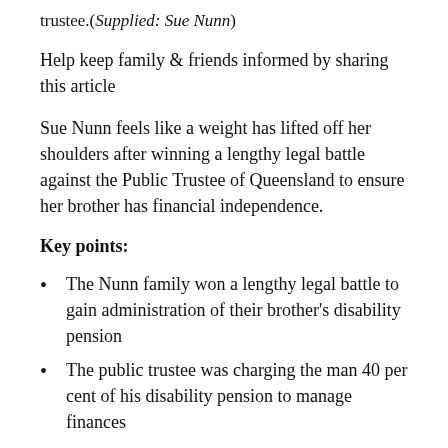trustee.(Supplied: Sue Nunn)
Help keep family & friends informed by sharing this article
Sue Nunn feels like a weight has lifted off her shoulders after winning a lengthy legal battle against the Public Trustee of Queensland to ensure her brother has financial independence.
Key points:
The Nunn family won a lengthy legal battle to gain administration of their brother’s disability pension
The public trustee was charging the man 40 per cent of his disability pension to manage finances
The Queensland government is establishing a trustee advisory board to improve performance